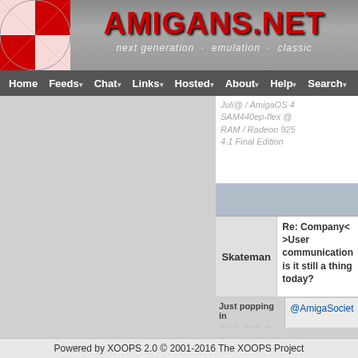AMIGANS.NET - next generation · emulation · classic
Home | Feeds | Chat | Links | Hosted | About | Help | Search
Juli@ / AmigaOS 4 SAM440ep-flex @ RAM / Radeon 925 4.1 Final Edition
Re: Company<>User communication is it still a thing today?
Skateman
Just popping in
[Figure (illustration): Silhouette avatar illustration of a person in black and white]
@AmigaSociety I hope the situation is better one day! ... hold of you X5k now and then.
AmigaOne X50
Powered by XOOPS 2.0 © 2001-2016 The XOOPS Project